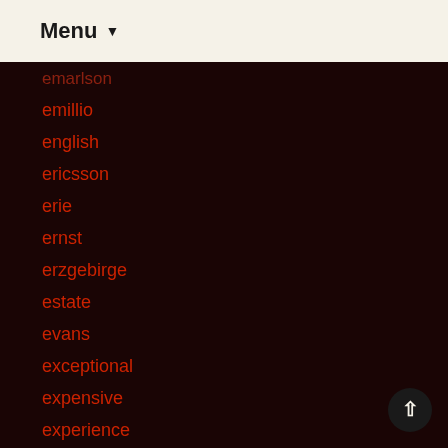Menu ▼
emarlson
emillio
english
ericsson
erie
ernst
erzgebirge
estate
evans
exceptional
expensive
experience
extensive
extra-large